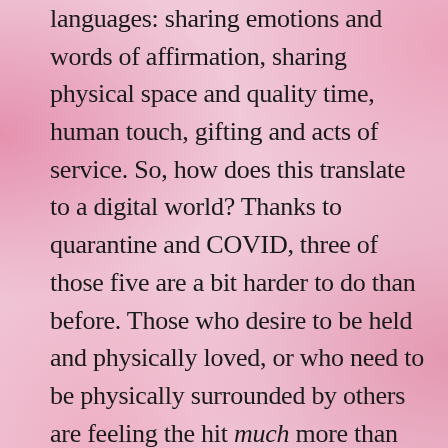languages: sharing emotions and words of affirmation, sharing physical space and quality time, human touch, gifting and acts of service. So, how does this translate to a digital world? Thanks to quarantine and COVID, three of those five are a bit harder to do than before. Those who desire to be held and physically loved, or who need to be physically surrounded by others are feeling the hit much more than others. It's important to acknowledge when that love language is being ignored. Thankfully, our current technology has allowed us to reach out to others and keep in touch – more or less; sure, the digital world we're living in leaves a lot to be desired when it comes to holding space